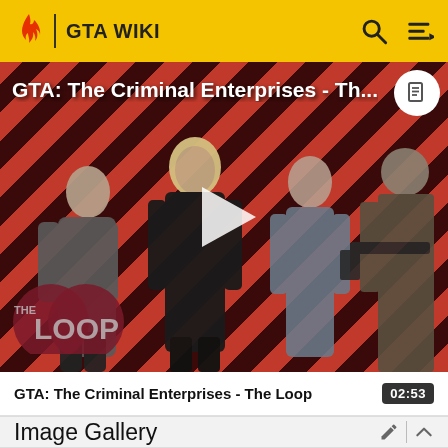GTA WIKI
[Figure (screenshot): Video thumbnail for 'GTA: The Criminal Enterprises - Th...' showing game characters on a red diagonal striped background with a play button and The Loop logo overlay]
GTA: The Criminal Enterprises - The Loop  02:53
Image Gallery
Grand Theft Auto Online